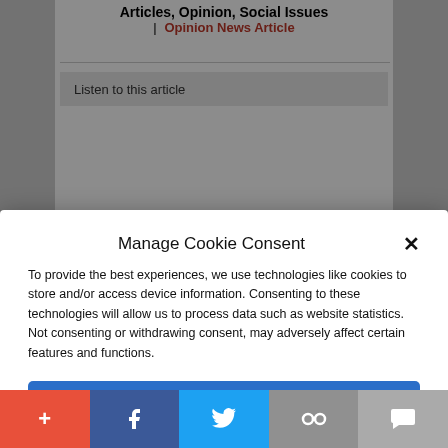Articles, Opinion, Social Issues | Opinion News Article
Listen to this article
Manage Cookie Consent
To provide the best experiences, we use technologies like cookies to store and/or access device information. Consenting to these technologies will allow us to process data such as website statistics. Not consenting or withdrawing consent, may adversely affect certain features and functions.
Accept
Cookie Policy   Privacy Policy
The prevalence of porn may seem like a benign subject, but researchers are